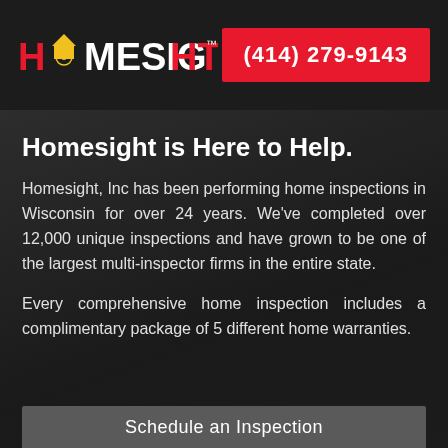[Figure (logo): Homesight Inc. logo with house icon, red and white lettering]
(414) 279-9143
Homesight is Here to Help.
Homesight, Inc has been performing home inspections in Wisconsin for over 24 years. We've completed over 12,000 unique inspections and have grown to be one of the largest multi-inspector firms in the entire state.
Every comprehensive home inspection includes a complimentary package of 5 different home warranties.
Schedule an Inspection